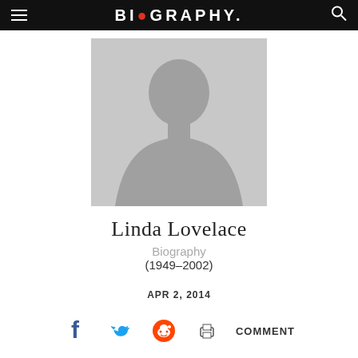BIOGRAPHY
[Figure (photo): Generic placeholder silhouette of a person, gray background]
Linda Lovelace
Biography
(1949–2002)
APR 2, 2014
COMMENT